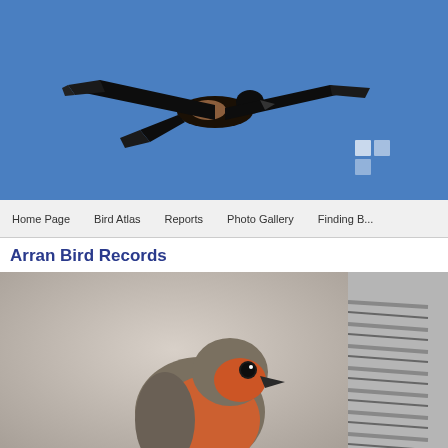[Figure (photo): A bird of prey (eagle or hawk) in flight against a bright blue sky, photographed from below with wings spread wide. The bird is dark/black in color. This forms the website header banner.]
Home Page   Bird Atlas   Reports   Photo Gallery   Finding B...
Arran Bird Records
[Figure (photo): A robin (small bird with orange-red breast) perched on a twig, photographed against a neutral grey-beige background. The bird is facing left-forward, showing its characteristic round body and orange breast.]
[Figure (photo): Partial view of another bird photograph on the right side, showing what appears to be grey/silver feathers or scales, cropped at the page edge.]